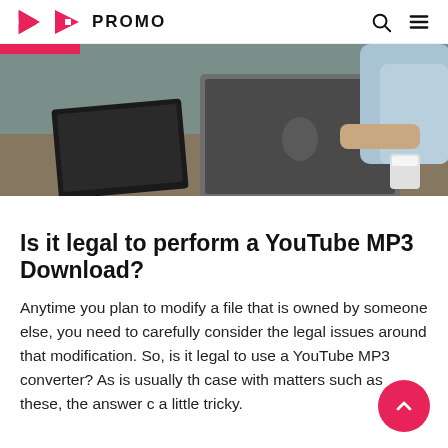PROMO
[Figure (photo): Person working at a desk with two laptops open, viewed from above at an angle. One is a black laptop, the other is a silver MacBook. Person is wearing a light blue shirt and appears to be writing.]
Is it legal to perform a YouTube MP3 Download?
Anytime you plan to modify a file that is owned by someone else, you need to carefully consider the legal issues around that modification. So, is it legal to use a YouTube MP3 converter? As is usually the case with matters such as these, the answer can be a little tricky.